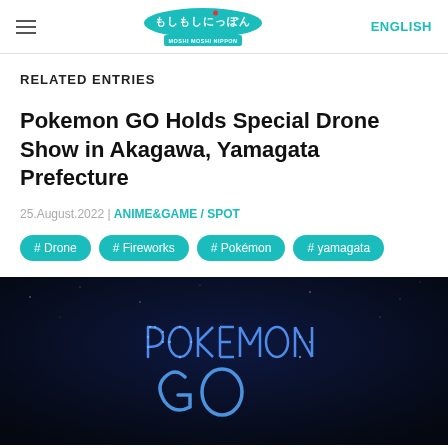MOSHI MOSHI NIPPON | ENGLISH
RELATED ENTRIES
Pokemon GO Holds Special Drone Show in Akagawa, Yamagata Prefecture
25.August.2022 | ANIME&GAME / SPOT
# Drone
# Fireworks
# Pokémon
# yamagata
[Figure (photo): Night sky drone light show forming the Pokemon GO logo in blue lights against a dark blue/black sky]